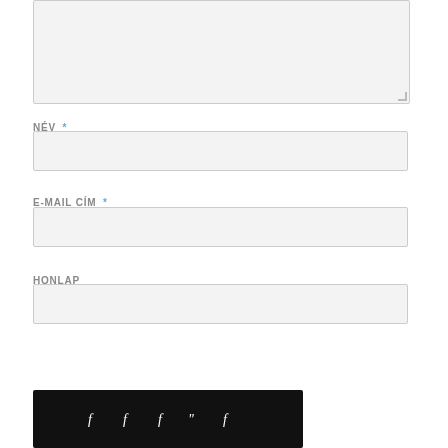[Figure (screenshot): A web form textarea input field with a light gray background, border, and resize handle at bottom-right corner. Partially visible at top of page.]
NÉV *
[Figure (screenshot): A single-line text input field with light gray background and border, for the Name field.]
E-MAIL CÍM *
[Figure (screenshot): A single-line text input field with light gray background and border, for the E-mail address field.]
HONLAP
[Figure (screenshot): A single-line text input field with light gray background and border, for the Website (Honlap) field.]
[Figure (screenshot): A dark/black bar at the bottom of the page, partially visible, likely a submit button or navigation bar with social media icons.]